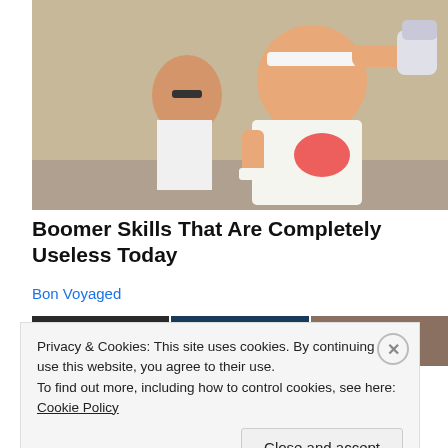[Figure (photo): Elderly man in white sleeveless shirt and headband throwing a punch wearing boxing gloves, with another man in white shirt and sunglasses visible behind him.]
Boomer Skills That Are Completely Useless Today
Bon Voyaged
[Figure (photo): Three partially visible thumbnail images at the bottom of the page.]
Privacy & Cookies: This site uses cookies. By continuing to use this website, you agree to their use.
To find out more, including how to control cookies, see here: Cookie Policy
Close and accept